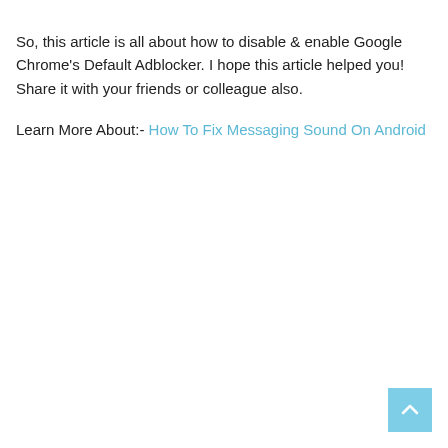So, this article is all about how to disable & enable Google Chrome's Default Adblocker. I hope this article helped you! Share it with your friends or colleague also.
Learn More About:- How To Fix Messaging Sound On Android